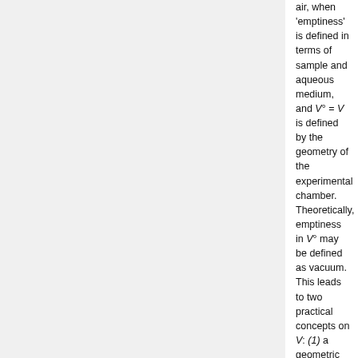air, when 'emptiness' is defined in terms of sample and aqueous medium, and V° = V is defined by the geometry of the experimental chamber. Theoretically, emptiness in V° may be defined as vacuum. This leads to two practical concepts on V: (1) a geometric meaning of the system defined simply by the physical